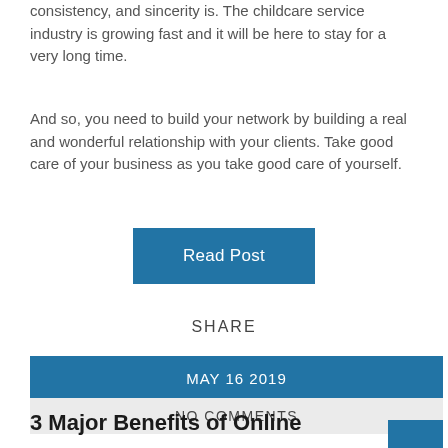consistency, and sincerity is. The childcare service industry is growing fast and it will be here to stay for a very long time.
And so, you need to build your network by building a real and wonderful relationship with your clients. Take good care of your business as you take good care of yourself.
Read Post
SHARE
MAY 16 2019
NO COMMENTS
3 Major Benefits of Online